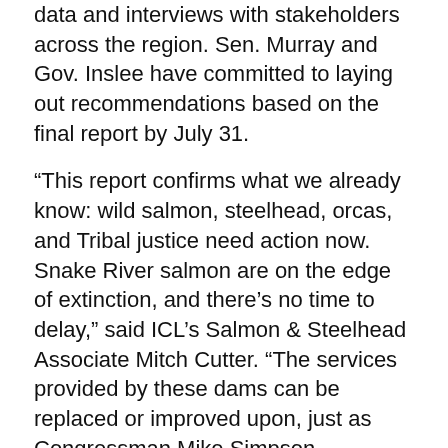data and interviews with stakeholders across the region. Sen. Murray and Gov. Inslee have committed to laying out recommendations based on the final report by July 31.
“This report confirms what we already know: wild salmon, steelhead, orcas, and Tribal justice need action now. Snake River salmon are on the edge of extinction, and there’s no time to delay,” said ICL’s Salmon & Steelhead Associate Mitch Cutter. “The services provided by these dams can be replaced or improved upon, just as Congressman Mike Simpson concluded nearly 18 months ago. Now it’s time to act.”
The Idaho Conservation League (ICL) encourages Northwest leaders to recognize not only that the dams’ services can be replaced, but that they must be replaced quickly to advance breaching of the four lower Snake River dams. Congress should work immediately with the Biden-Harris Administration to introduce legislation that allocates funding for replacement infrastructure, mandates interim